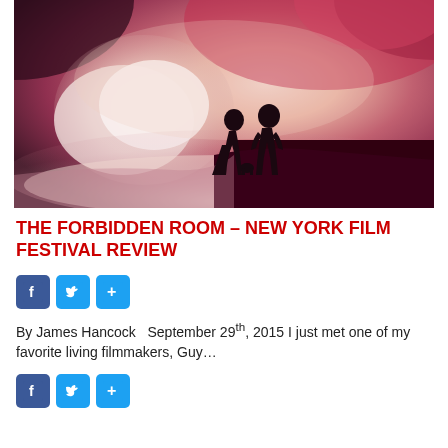[Figure (photo): Two silhouetted figures standing on a misty, dreamlike landscape with pink and red hues, clouds or volcanic terrain in background]
THE FORBIDDEN ROOM – NEW YORK FILM FESTIVAL REVIEW
[Figure (infographic): Social share buttons: Facebook, Twitter, and a plus/share button in blue]
By James Hancock  September 29th, 2015 I just met one of my favorite living filmmakers, Guy…
[Figure (infographic): Social share buttons: Facebook, Twitter, and a plus/share button in blue]